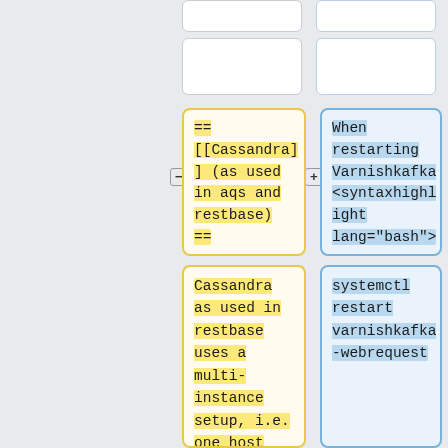== [[Cassandra] ] (as used in aqs and restbase) ==
When restarting Varnishkafka <syntaxhighlight lang="bash">
Cassandra as used in restbase uses a multi-instance setup, i.e. one host runs multiple cassandra processes, typically
systemctl restart varnishkafka-webrequest